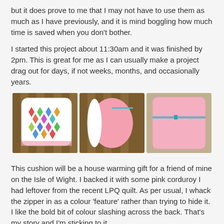but it does prove to me that I may not have to use them as much as I have previously, and it is mind boggling how much time is saved when you don't bother.
I started this project about 11:30am and it was finished by 2pm. This is great for me as I can usually make a project drag out for days, if not weeks, months, and occasionally years.
[Figure (photo): Three photos of a cushion: front showing colorful patterned fabric, side view showing pink corduroy back, and back view showing pink corduroy with a turquoise/blue zipper across.]
This cushion will be a house warming gift for a friend of mine on the Isle of Wight. I backed it with some pink corduroy I had leftover from the recent LPQ quilt. As per usual, I whack the zipper in as a colour 'feature' rather than trying to hide it. I like the bold bit of colour slashing across the back. That's my story and I'm sticking to it.